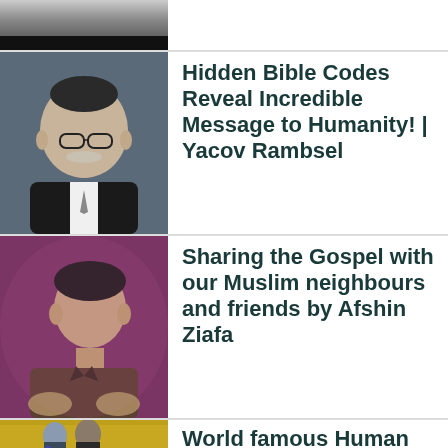[Figure (photo): Partial/cropped top of a person's face and shoulders, partially visible at top of page]
[Figure (photo): Elderly man wearing a kippah and glasses, in front of a dark acoustic panel background]
Hidden Bible Codes Reveal Incredible Message to Humanity! | Yacov Rambsel
[Figure (photo): Young man with dark hair speaking, purple/pink background]
Sharing the Gospel with our Muslim neighbours and friends by Afshin Ziafa
[Figure (photo): Two men at a ceremony with American flags, one receiving a medal]
World famous Human Genome Scientist & an atheist Francis Collins: